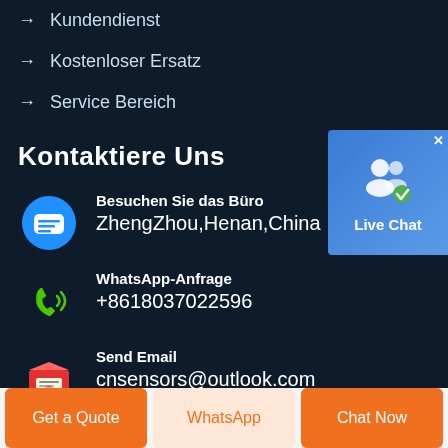→ Kundendienst
→ Kostenloser Ersatz
→ Service Bereich
[Figure (illustration): Live Chat button with two person icons and checkmark badge on blue background]
Kontaktiere Uns
[Figure (illustration): Blue chat bubble icon with lines]
Besuchen Sie das Büro
ZhengZhou,Henan,China
[Figure (illustration): Green phone with signal waves icon]
WhatsApp-Anfrage
+8618037022596
[Figure (illustration): Red envelope email icon]
Send Email
cnsensors@outlook.com
Get a Quote
WhatsApp
Chat Now